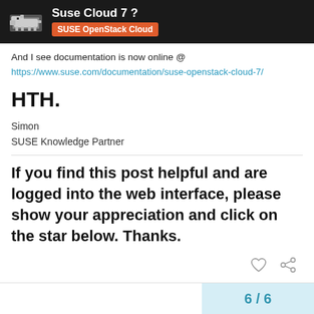Suse Cloud 7 ? | SUSE OpenStack Cloud
And I see documentation is now online @
https://www.suse.com/documentation/suse-openstack-cloud-7/
HTH.
Simon
SUSE Knowledge Partner
If you find this post helpful and are logged into the web interface, please show your appreciation and click on the star below. Thanks.
6 / 6